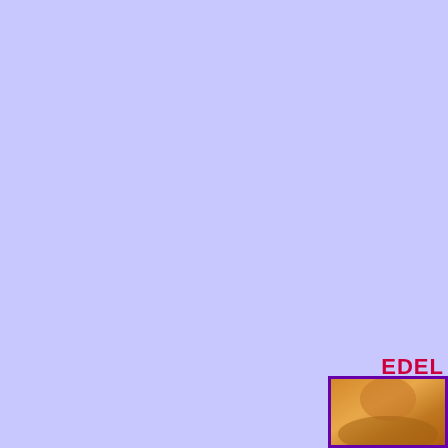[Figure (illustration): Large lavender/periwinkle blue background filling most of the page]
EDEL
[Figure (photo): Partial photo visible in bottom-right corner, showing a warm golden/amber toned subject, cropped. Framed with a dark purple border.]